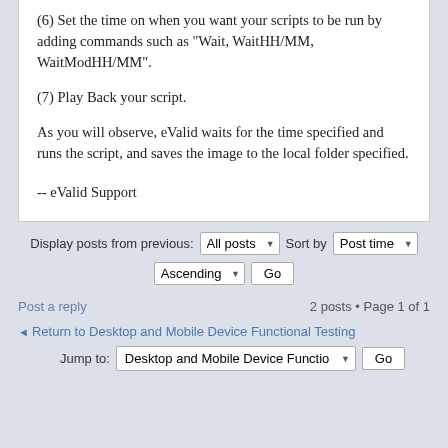(6) Set the time on when you want your scripts to be run by adding commands such as "Wait, WaitHH/MM, WaitModHH/MM".
(7) Play Back your script.
As you will observe, eValid waits for the time specified and runs the script, and saves the image to the local folder specified.
-- eValid Support
Display posts from previous: All posts ▾  Sort by  Post time ▾
Ascending ▾  Go
Post a reply	2 posts • Page 1 of 1
◄ Return to Desktop and Mobile Device Functional Testing
Jump to:  Desktop and Mobile Device Functional Testing ▾  Go
Board index   The team • Delete all board cookies • All times are UTC - 8 hours
Powered by phpBB® Forum Software © phpBB Group   Style designed by Artodia.